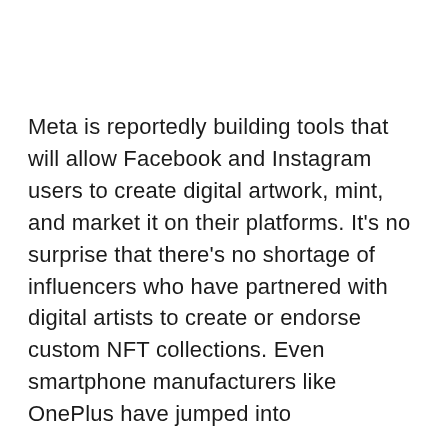Meta is reportedly building tools that will allow Facebook and Instagram users to create digital artwork, mint, and market it on their platforms. It's no surprise that there's no shortage of influencers who have partnered with digital artists to create or endorse custom NFT collections. Even smartphone manufacturers like OnePlus have jumped into